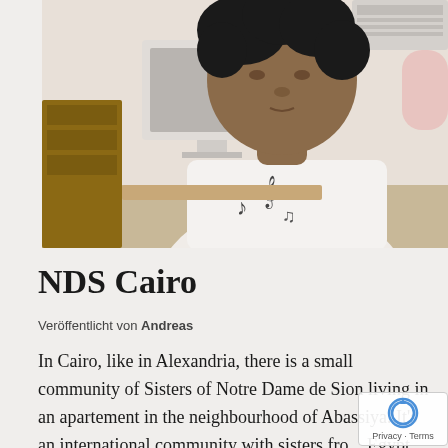[Figure (photo): Photo of a person wearing a white t-shirt with musical note design, seated near a desk with electronic equipment and a computer monitor in the background.]
NDS Cairo
Veröffentlicht von Andreas
In Cairo, like in Alexandria, there is a small community of Sisters of Notre Dame de Sion living in an apartement in the neighbourhood of Abassiya. It's an international community with sisters from Egypt and overseas going out for work in different fields. They hosted us so nicely and made us very